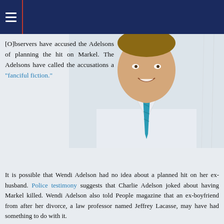Navigation header with menu icon
[Figure (photo): Photo of a smiling man in a white dress shirt with a teal/blue striped tie, professional headshot style]
[O]bservers have accused the Adelsons of planning the hit on Markel. The Adelsons have called the accusations a "fanciful fiction."
It is possible that Wendi Adelson had no idea about a planned hit on her ex-husband. Police testimony suggests that Charlie Adelson joked about having Markel killed. Wendi Adelson also told People magazine that an ex-boyfriend from after her divorce, a law professor named Jeffrey Lacasse, may have had something to do with it.
"I'm the paranoid ex-boyfriend," Lacasse reportedly told the police. "I was surprised that you guys didn't call me earlier,